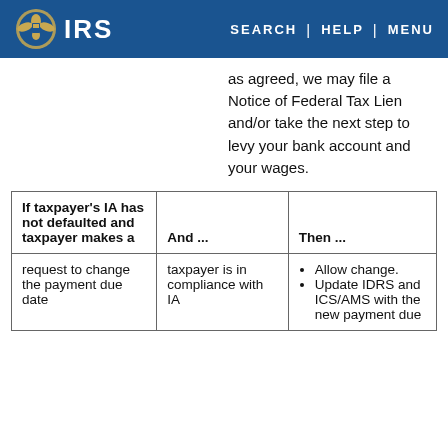IRS | SEARCH | HELP | MENU
as agreed, we may file a Notice of Federal Tax Lien and/or take the next step to levy your bank account and your wages.
| If taxpayer's IA has not defaulted and taxpayer makes a | And ... | Then ... |
| --- | --- | --- |
| request to change the payment due date | taxpayer is in compliance with IA | Allow change.
Update IDRS and ICS/AMS with the new payment due |